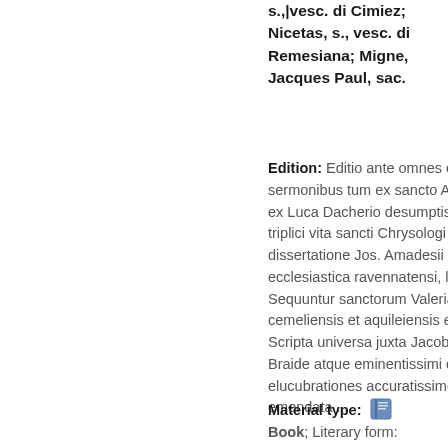s.,|vesc. di Cimiez; Nicetas, s., vesc. di Remesiana; Migne, Jacques Paul, sac.
Edition: Editio ante omnes completa, sermonibus tum ex sancto Augustino, tum ex Luca Dacherio desumptis, necnon triplici vita sancti Chrysologi et dissertatione Jos. Amadesii de metropoli ecclesiastica ravennatensi, locupletata. Sequuntur sanctorum Valeriani et Nicetae, cemeliensis et aquileiensis episcoporum, Scripta universa juxta Jacobi Sirmondi, Braide atque eminentissimi cardinalis Maii elucubrationes accuratissime expressa et emendata ...
Material type: Book; Literary form: